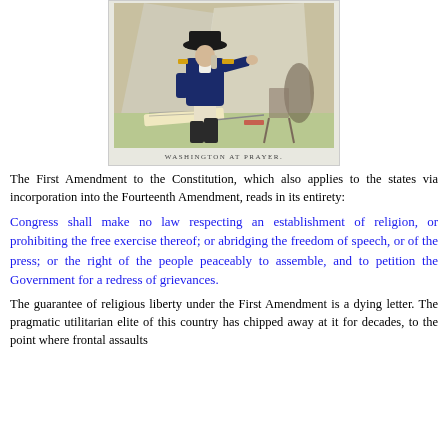[Figure (illustration): Historical illustration of George Washington kneeling in prayer at Valley Forge, in military uniform, with a horse and tent in the background. Caption reads 'WASHINGTON AT PRAYER.']
The First Amendment to the Constitution, which also applies to the states via incorporation into the Fourteenth Amendment, reads in its entirety:
Congress shall make no law respecting an establishment of religion, or prohibiting the free exercise thereof; or abridging the freedom of speech, or of the press; or the right of the people peaceably to assemble, and to petition the Government for a redress of grievances.
The guarantee of religious liberty under the First Amendment is a dying letter. The pragmatic utilitarian elite of this country has chipped away at it for decades, to the point where frontal assaults